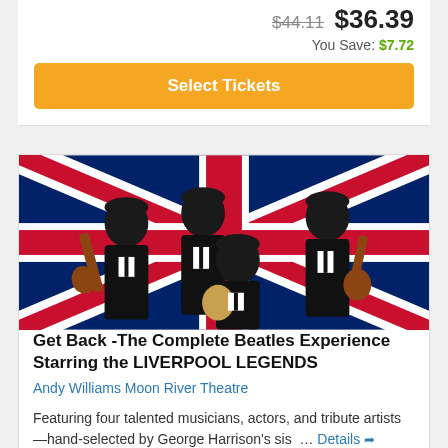$44.11  $36.39
You Save: $7.72
Select Tickets
[Figure (photo): Four Beatles tribute musicians in black suits holding guitars, standing in front of a Union Jack flag backdrop]
Get Back -The Complete Beatles Experience Starring the LIVERPOOL LEGENDS
Andy Williams Moon River Theatre
Featuring four talented musicians, actors, and tribute artists—hand-selected by George Harrison's sis … Details